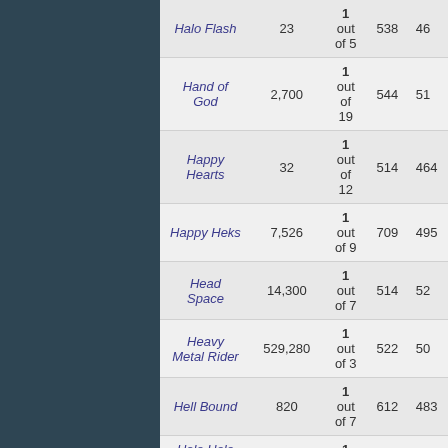| Name | Plays | Rank | Score |  |
| --- | --- | --- | --- | --- |
| Halo Flash | 23 | 1 out of 5 | 538 | 46 |
| Hand of God | 2,700 | 1 out of 19 | 544 | 51 |
| Happy Hearts | 32 | 1 out of 12 | 514 | 464 |
| Happy Heks | 7,526 | 1 out of 9 | 709 | 495 |
| Head Space | 14,300 | 1 out of 7 | 514 | 52 |
| Heavy Metal Rider | 529,280 | 1 out of 3 | 522 | 50 |
| Hell Bound | 820 | 1 out of 7 | 612 | 483 |
| Holo Holo Island Demo | 2,306,676 | 1 out of 7 | 732 | 51 |
| Ibuneroids | 107 | 1 out of 24 | 753 | 51 |
| Indestructo Tank | 52 | 1 out of 12 | 557 | 5 |
| Indiana Jones | 205 | 1 out of 6 | 559 | 513 |
| Insurgo Remix | 3,300 | 1 out of 6 | 661 | 45 |
| Irritating Game | 27.02 | 1 out of 12 | 615 | 47 |
| Jake,s Fire Power | 21,910 | 1 out of 9 | 552 | 505 |
| James the Circus |  |  |  |  |